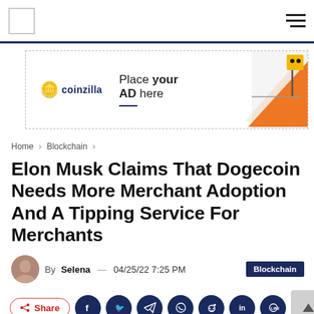Navigation bar with logo placeholder and hamburger menu
[Figure (other): Coinzilla advertisement banner: coin mascot icon, 'coinzilla' text, 'Place your AD here' slogan with blue underline, orange triangle graphic on right side]
Home > Blockchain >
Elon Musk Claims That Dogecoin Needs More Merchant Adoption And A Tipping Service For Merchants
By Selena — 04/25/22 7:25 PM   Blockchain
Share (social share buttons: Facebook, Twitter, Telegram, WhatsApp, Reddit, LinkedIn, LINE)